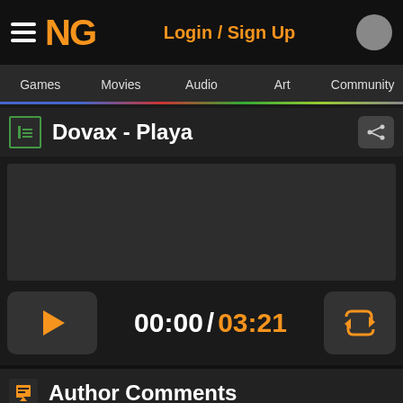NG  Login / Sign Up
Games  Movies  Audio  Art  Community
Dovax - Playa
[Figure (other): Audio waveform player area with dark background]
00:00 / 03:21
Author Comments
Hadn't upload a Future Bass (or something) track in a while, this is the "Jungle" bonus track, it doesnt fit the main genre of the EP so i decided put it as a bonus track. Next one is going to be a Deep Bounce remix...